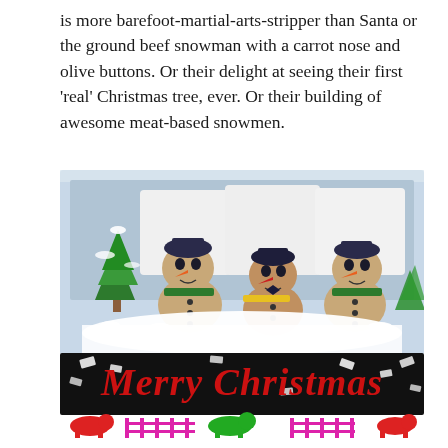is more barefoot-martial-arts-stripper than Santa or the ground beef snowman with a carrot nose and olive buttons. Or their delight at seeing their first ‘real’ Christmas tree, ever. Or their building of awesome meat-based snowmen.
[Figure (photo): A butcher shop display featuring three meat-based snowmen figures made from ground beef, with carrot noses, olive eyes, and vegetable accessories, arranged in a snowy display case with a miniature Christmas tree. Below the snowmen is a black tray with 'Merry Christmas' written in red ground meat/mince. At the bottom is a colorful cartoon-style decorative strip with animal figures.]